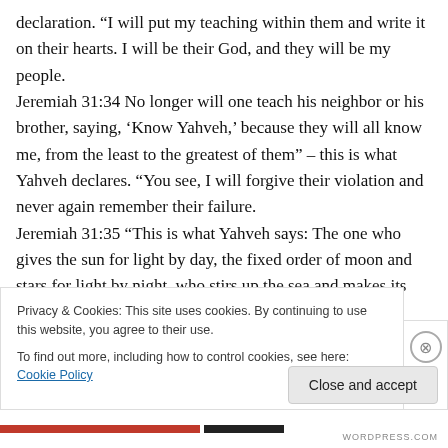declaration. “I will put my teaching within them and write it on their hearts. I will be their God, and they will be my people.
Jeremiah 31:34 No longer will one teach his neighbor or his brother, saying, ‘Know Yahveh,’ because they will all know me, from the least to the greatest of them” – this is what Yahveh declares. “You see, I will forgive their violation and never again remember their failure.
Jeremiah 31:35 “This is what Yahveh says: The one who gives the sun for light by day, the fixed order of moon and stars for light by night, who stirs up the sea and makes its
Privacy & Cookies: This site uses cookies. By continuing to use this website, you agree to their use.
To find out more, including how to control cookies, see here: Cookie Policy
Close and accept